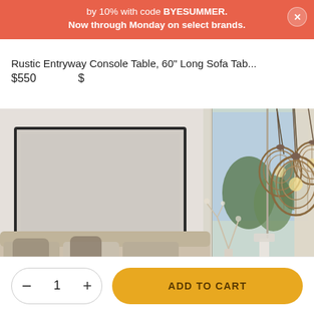by 10% with code BYESUMMER. Now through Monday on select brands.
Rustic Entryway Console Table, 60" Long Sofa Tab...
$550
[Figure (photo): Interior room photo showing pendant wicker/rattan hanging lights, a framed art piece on the wall, a sofa with cushions, and a glass door opening to an outdoor view with trees.]
ADD TO CART